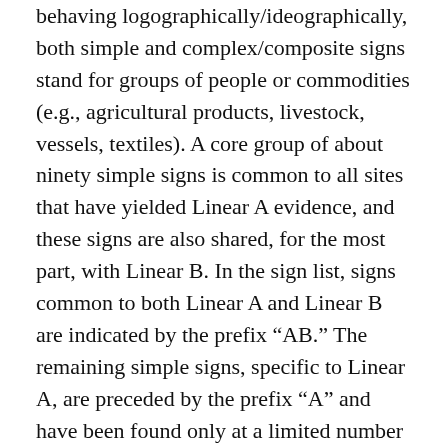behaving logographically/ideographically, both simple and complex/composite signs stand for groups of people or commodities (e.g., agricultural products, livestock, vessels, textiles). A core group of about ninety simple signs is common to all sites that have yielded Linear A evidence, and these signs are also shared, for the most part, with Linear B. In the sign list, signs common to both Linear A and Linear B are indicated by the prefix “AB.” The remaining simple signs, specific to Linear A, are preceded by the prefix “A” and have been found only at a limited number of sites.4 Complex/composite signs are also specific to Linear A and in fact are mostly “hapaxes” (i.e., they occur only once in the surviving Linear A texts), but the means by which simple signs are combined to form complex/composite signs are common across sites.5